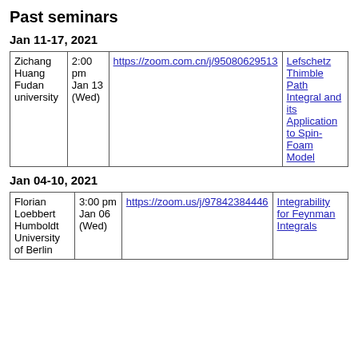Past seminars
Jan 11-17, 2021
| Name | Time | Link | Title |
| --- | --- | --- | --- |
| Zichang Huang Fudan university | 2:00 pm Jan 13 (Wed) | https://zoom.com.cn/j/95080629513 | Lefschetz Thimble Path Integral and its Application to Spin-Foam Model |
Jan 04-10, 2021
| Name | Time | Link | Title |
| --- | --- | --- | --- |
| Florian Loebbert Humboldt University of Berlin | 3:00 pm Jan 06 (Wed) | https://zoom.us/j/97842384446 | Integrability for Feynman Integrals |